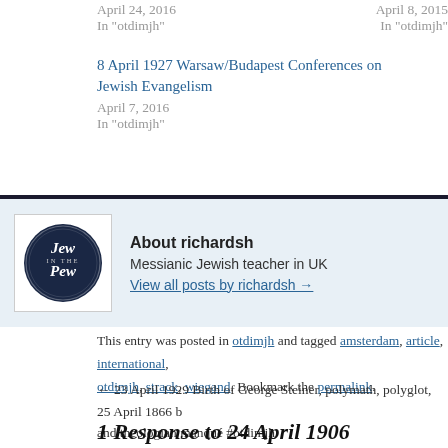April 24, 2016
In "otdimjh"
April 8, 2015
In "otdimjh"
8 April 1927 Warsaw/Budapest Conferences on Jewish Evangelism
April 7, 2016
In "otdimjh"
[Figure (logo): Circular logo with dark navy background reading 'Jew in the Pew' in italic serif text]
About richardsh
Messianic Jewish teacher in UK
View all posts by richardsh →
This entry was posted in otdimjh and tagged amsterdam, article, international, otdimjh, strack, wiegand. Bookmark the permalink.
← 23 April 1929 Birth of George Steiner, polymath, polyglot, and theologian manqué #otdimjh    25 April 1866 b…
1 Response to 24 April 1906 Amsterdam Co…